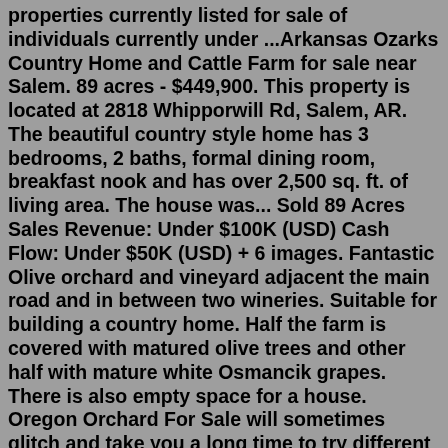properties currently listed for sale of individuals currently under ...Arkansas Ozarks Country Home and Cattle Farm for sale near Salem. 89 acres - $449,900. This property is located at 2818 Whipporwill Rd, Salem, AR. The beautiful country style home has 3 bedrooms, 2 baths, formal dining room, breakfast nook and has over 2,500 sq. ft. of living area. The house was... Sold 89 Acres Sales Revenue: Under $100K (USD) Cash Flow: Under $50K (USD) + 6 images. Fantastic Olive orchard and vineyard adjacent the main road and in between two wineries. Suitable for building a country home. Half the farm is covered with matured olive trees and other half with mature white Osmancik grapes. There is also empty space for a house. Oregon Orchard For Sale will sometimes glitch and take you a long time to try different solutions. LoginAsk is here to help you access Oregon Orchard For Sale quickly and handle each specific case you encounter. Furthermore, you can find the "Troubleshooting Login Issues" section which can answer your unresolved problems and